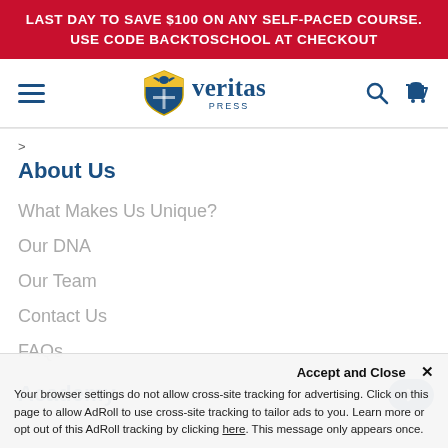LAST DAY TO SAVE $100 ON ANY SELF-PACED COURSE. USE CODE BACKTOSCHOOL AT CHECKOUT
[Figure (logo): Veritas Press logo with shield icon and text 'veritas PRESS']
>
About Us
What Makes Us Unique?
Our DNA
Our Team
Contact Us
FAQs
Academy
Accept and Close ×
Your browser settings do not allow cross-site tracking for advertising. Click on this page to allow AdRoll to use cross-site tracking to tailor ads to you. Learn more or opt out of this AdRoll tracking by clicking here. This message only appears once.